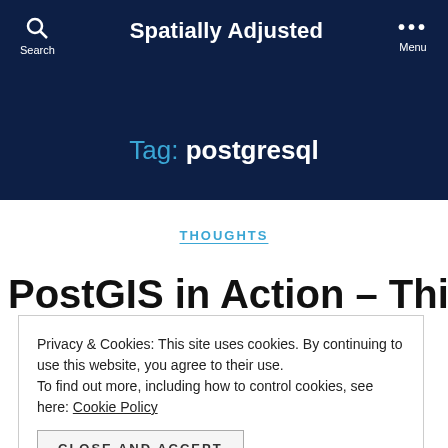Spatially Adjusted — Search / Menu navigation bar
Tag: postgresql
THOUGHTS
PostGIS in Action – Third
Privacy & Cookies: This site uses cookies. By continuing to use this website, you agree to their use. To find out more, including how to control cookies, see here: Cookie Policy
CLOSE AND ACCEPT